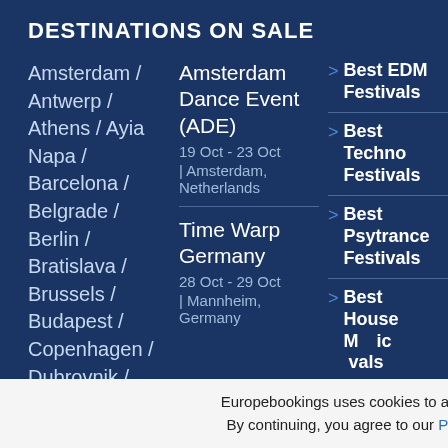DESTINATIONS ON SALE
Amsterdam / Antwerp / Athens / Ayia Napa / Barcelona / Belgrade / Berlin / Bratislava / Brussels / Budapest / Copenhagen / Dubrovnik /
Amsterdam Dance Event (ADE)
19 Oct - 23 Oct | Amsterdam, Netherlands
Time Warp Germany
28 Oct - 29 Oct | Mannheim, Germany
> Best EDM Festivals
> Best Techno Festivals
> Best Psytrance Festivals
> Best House Music Festivals
Europebookings uses cookies to analyse traffic. By continuing, you agree to our Privacy Policy